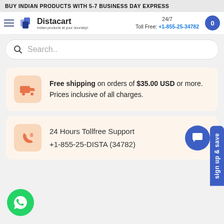BUY INDIAN PRODUCTS WITH 5-7 BUSINESS DAY EXPRESS
[Figure (logo): Distacart logo with shopping bag icon and tagline 'Indian products at your doorstep!']
24/7 Toll Free: +1-855-25-34782
Search..
Free shipping on orders of $35.00 USD or more. Prices inclusive of all charges.
24 Hours Tollfree Support +1-855-25-DISTA (34782)